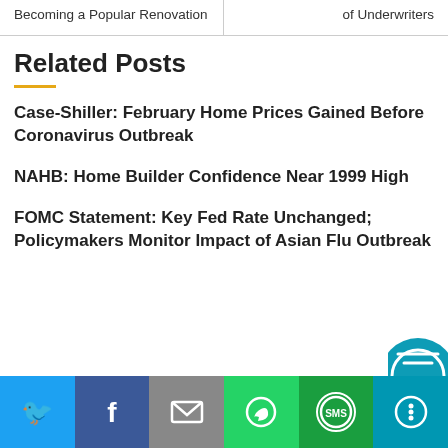Becoming a Popular Renovation
of Underwriters
Related Posts
Case-Shiller: February Home Prices Gained Before Coronavirus Outbreak
NAHB: Home Builder Confidence Near 1999 High
FOMC Statement: Key Fed Rate Unchanged; Policymakers Monitor Impact of Asian Flu Outbreak
[Figure (infographic): Social share bar with Twitter, Facebook, Email, WhatsApp, SMS, and More buttons]